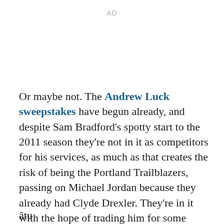AD
Or maybe not. The Andrew Luck sweepstakes have begun already, and despite Sam Bradford's spotty start to the 2011 season they're not in it as competitors for his services, as much as that creates the risk of being the Portland Trailblazers, passing on Michael Jordan because they already had Clyde Drexler. They're in it with the hope of trading him for some bounty of draft picks and impact-ready wide receivers or wide-receiver-confounders.
âtu